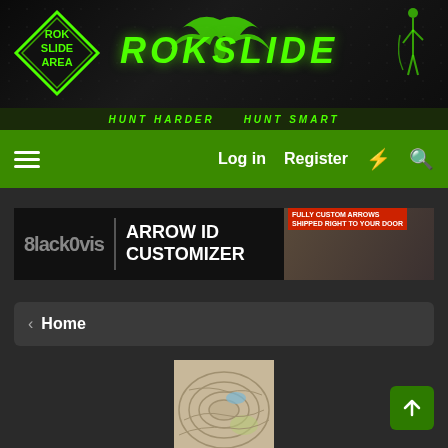[Figure (screenshot): Rokslide hunting forum website header with diamond logo reading ROK SLIDE AREA in green, ROKSLIDE text in large green letters, and tagline HUNT HARDER HUNT SMART]
Log in   Register
[Figure (photo): BlackOvis Arrow ID Customizer advertisement banner with man holding bow]
< Home
[Figure (photo): Topographic map avatar image for user HuntNTag]
HuntNTag
Well Known Rokslider · From Michigan